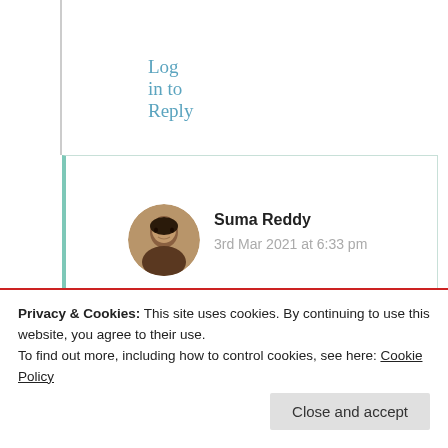Log in to Reply
[Figure (photo): Circular avatar photo of Suma Reddy, a person with dark hair]
Suma Reddy
3rd Mar 2021 at 6:33 pm
Thank you for the graceful acknowledgment. Prise the Lord!
★ Liked by 4 people
Privacy & Cookies: This site uses cookies. By continuing to use this website, you agree to their use.
To find out more, including how to control cookies, see here: Cookie Policy
Close and accept